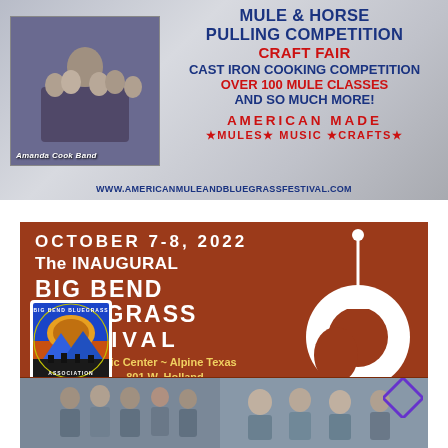[Figure (infographic): American Mule and Bluegrass Festival advertisement banner. Shows Amanda Cook Band photo on left, text on right listing: MULE & HORSE PULLING COMPETITION, CRAFT FAIR, CAST IRON COOKING COMPETITION, OVER 100 MULE CLASSES AND SO MUCH MORE! AMERICAN MADE *MULES* MUSIC *CRAFTS* www.americanmuleandbluegrassfestival.com]
[Figure (infographic): Big Bend Bluegrass Festival advertisement. Orange/rust background. OCTOBER 7-8, 2022. The INAUGURAL BIG BEND BLUEGRASS FESTIVAL. Civic Center ~ Alpine Texas 801 W. Holland. White guitar graphic on right. Big Bend Bluegrass Association circular logo on left. Two band photos at bottom.]